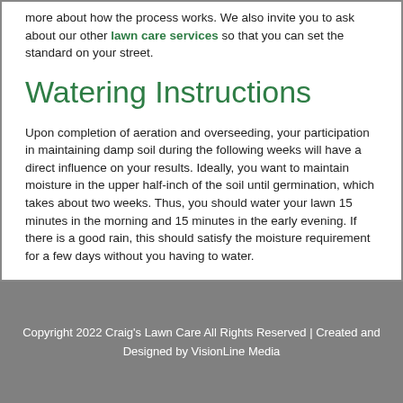more about how the process works. We also invite you to ask about our other lawn care services so that you can set the standard on your street.
Watering Instructions
Upon completion of aeration and overseeding, your participation in maintaining damp soil during the following weeks will have a direct influence on your results. Ideally, you want to maintain moisture in the upper half-inch of the soil until germination, which takes about two weeks. Thus, you should water your lawn 15 minutes in the morning and 15 minutes in the early evening. If there is a good rain, this should satisfy the moisture requirement for a few days without you having to water.
Copyright 2022 Craig's Lawn Care All Rights Reserved | Created and Designed by VisionLine Media